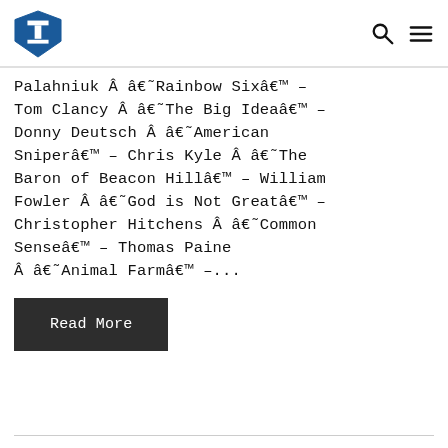[Logo] [Search icon] [Menu icon]
Palahniuk Â â€˜Rainbow Sixâ€™ – Tom Clancy Â â€˜The Big Ideaâ€™ – Donny Deutsch Â â€˜American Sniperâ€™ – Chris Kyle Â â€˜The Baron of Beacon Hillâ€™ – William Fowler Â â€˜God is Not Greatâ€™ – Christopher Hitchens Â â€˜Common Senseâ€™ – Thomas Paine Â â€˜Animal Farmâ€™ –...
Read More